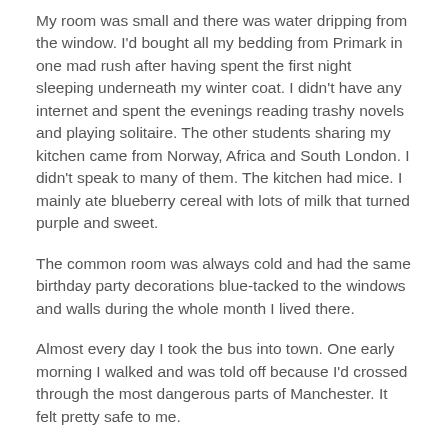My room was small and there was water dripping from the window. I'd bought all my bedding from Primark in one mad rush after having spent the first night sleeping underneath my winter coat. I didn't have any internet and spent the evenings reading trashy novels and playing solitaire. The other students sharing my kitchen came from Norway, Africa and South London. I didn't speak to many of them. The kitchen had mice. I mainly ate blueberry cereal with lots of milk that turned purple and sweet.
The common room was always cold and had the same birthday party decorations blue-tacked to the windows and walls during the whole month I lived there.
Almost every day I took the bus into town. One early morning I walked and was told off because I'd crossed through the most dangerous parts of Manchester. It felt pretty safe to me.
A year earlier I had dated a boy who lived in the same halls and I thought about how funny it is that we sometimes return to the places where we've been, even though we never planned it or thought about returning. Life sometimes gives you a sneak peek of what's to come.
Now it makes me feel a bit nostalgic. Perhaps I just miss the freedom of that month. Of coming back to the city where I'd spent a very happy